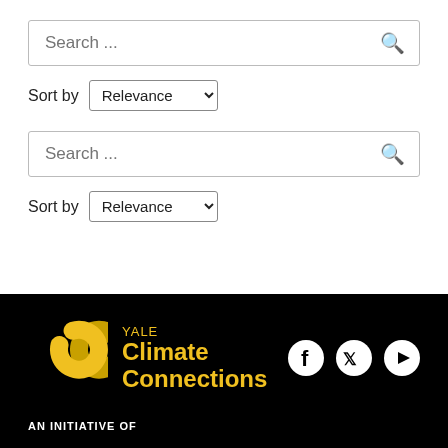[Figure (screenshot): Search bar with placeholder 'Search ...' and search icon]
Sort by Relevance
[Figure (screenshot): Second search bar with placeholder 'Search ...' and search icon]
Sort by Relevance
[Figure (logo): Yale Climate Connections logo with two overlapping gold C shapes, text 'YALE Climate Connections', and social media icons (Facebook, Twitter, YouTube)]
AN INITIATIVE OF